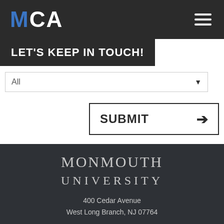MCA
LET'S KEEP IN TOUCH!
All
SUBMIT →
[Figure (logo): Monmouth University logo text: MONMOUTH UNIVERSITY]
400 Cedar Avenue
West Long Branch, NJ 07764